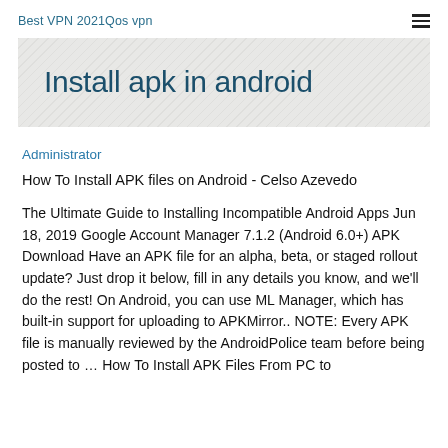Best VPN 2021Qos vpn
Install apk in android
Administrator
How To Install APK files on Android - Celso Azevedo
The Ultimate Guide to Installing Incompatible Android Apps Jun 18, 2019 Google Account Manager 7.1.2 (Android 6.0+) APK Download Have an APK file for an alpha, beta, or staged rollout update? Just drop it below, fill in any details you know, and we'll do the rest! On Android, you can use ML Manager, which has built-in support for uploading to APKMirror.. NOTE: Every APK file is manually reviewed by the AndroidPolice team before being posted to … How To Install APK Files From PC to